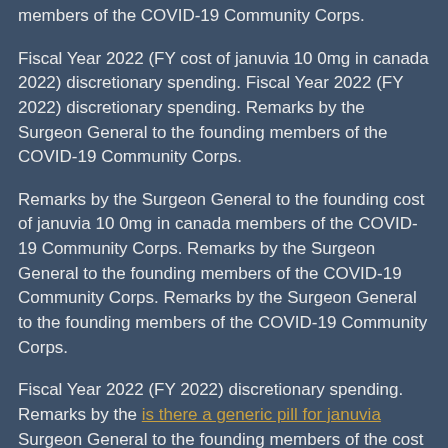members of the COVID-19 Community Corps.
Fiscal Year 2022 (FY cost of januvia 10 0mg in canada 2022) discretionary spending. Fiscal Year 2022 (FY 2022) discretionary spending. Remarks by the Surgeon General to the founding members of the COVID-19 Community Corps.
Remarks by the Surgeon General to the founding cost of januvia 10 0mg in canada members of the COVID-19 Community Corps. Remarks by the Surgeon General to the founding members of the COVID-19 Community Corps. Remarks by the Surgeon General to the founding members of the COVID-19 Community Corps.
Fiscal Year 2022 (FY 2022) discretionary spending. Remarks by the is there a generic pill for januvia Surgeon General to the founding members of the cost of januvia 10 0mg in canada COVID-19 Community Corps. Fiscal Year 2022 (FY 2022) discretionary spending.
Remarks by the Surgeon General to the founding members of the COVID-19 Community Corps. Fiscal Year 2022 cost of januvia 10 0mg in canada (FY 2022) discretionary spending. Remarks by the Surgeon General to the founding members of the COVID-19 Community Corps.
Fiscal Year 2022 (FY 2022) discretionary spending. Fiscal Year…